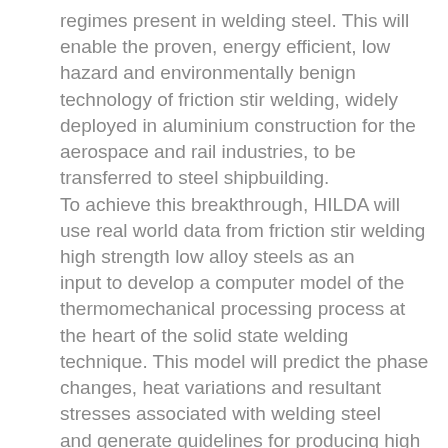regimes present in welding steel. This will enable the proven, energy efficient, low hazard and environmentally benign technology of friction stir welding, widely deployed in aluminium construction for the aerospace and rail industries, to be transferred to steel shipbuilding. To achieve this breakthrough, HILDA will use real world data from friction stir welding high strength low alloy steels as an input to develop a computer model of the thermomechanical processing process at the heart of the solid state welding technique. This model will predict the phase changes, heat variations and resultant stresses associated with welding steel and generate guidelines for producing high strength welds with minimal distortion. The output from this predictive model will be used to create an expert system of easy to use software